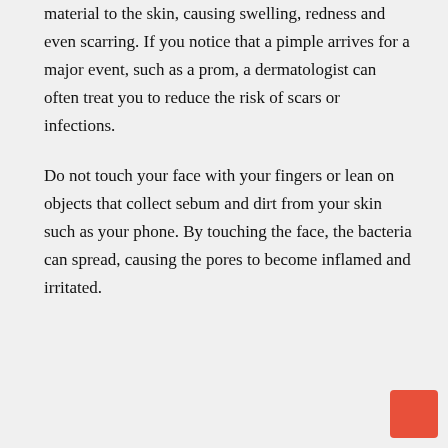material to the skin, causing swelling, redness and even scarring. If you notice that a pimple arrives for a major event, such as a prom, a dermatologist can often treat you to reduce the risk of scars or infections.
Do not touch your face with your fingers or lean on objects that collect sebum and dirt from your skin such as your phone. By touching the face, the bacteria can spread, causing the pores to become inflamed and irritated.